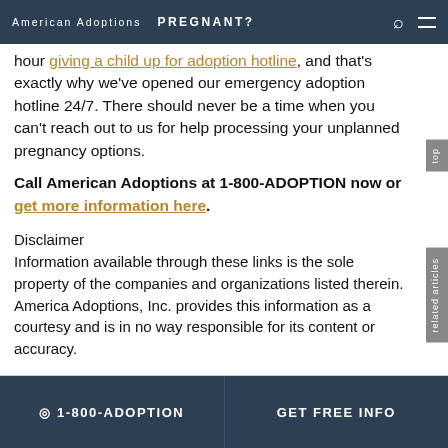American Adoptions   PREGNANT?
hour giving a child up for adoption hotline, and that’s exactly why we’ve opened our emergency adoption hotline 24/7. There should never be a time when you can’t reach out to us for help processing your unplanned pregnancy options.
Call American Adoptions at 1-800-ADOPTION now or get more information here.
Disclaimer
Information available through these links is the sole property of the companies and organizations listed therein. America Adoptions, Inc. provides this information as a courtesy and is in no way responsible for its content or accuracy.
☉ 1-800-ADOPTION   GET FREE INFO